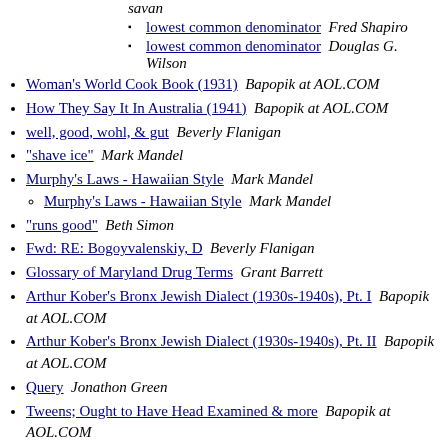savan
lowest common denominator  Fred Shapiro
lowest common denominator  Douglas G. Wilson
Woman's World Cook Book (1931)  Bapopik at AOL.COM
How They Say It In Australia (1941)  Bapopik at AOL.COM
well, good, wohl, & gut  Beverly Flanigan
"shave ice"  Mark Mandel
Murphy's Laws - Hawaiian Style  Mark Mandel
Murphy's Laws - Hawaiian Style  Mark Mandel
"runs good"  Beth Simon
Fwd: RE: Bogoyvalenskiy, D  Beverly Flanigan
Glossary of Maryland Drug Terms  Grant Barrett
Arthur Kober's Bronx Jewish Dialect (1930s-1940s), Pt. I  Bapopik at AOL.COM
Arthur Kober's Bronx Jewish Dialect (1930s-1940s), Pt. II  Bapopik at AOL.COM
Query  Jonathon Green
Tweens; Ought to Have Head Examined & more  Bapopik at AOL.COM
Query on "rorf"  Gerald Cohen
Michelada (Mexican cocktail)  Laurence Horn
Michelada (Mexican cocktail)  Bapopik